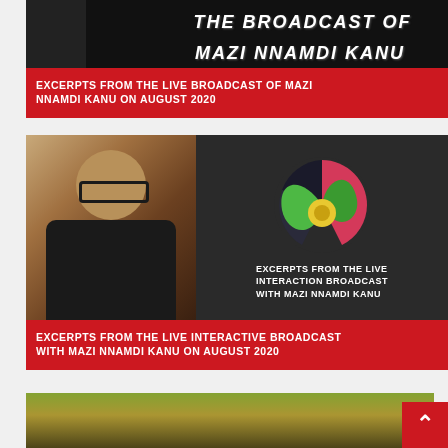[Figure (photo): Top card showing broadcast thumbnail with dark background and white text 'THE BROADCAST OF MAZI NNAMDI KANU']
EXCERPTS FROM THE LIVE BROADCAST OF MAZI NNAMDI KANU ON AUGUST 2020
[Figure (photo): Second card showing photo of Mazi Nnamdi Kanu wearing glasses and headphones beside a colorful logo for IPOB with text 'EXCERPTS FROM THE LIVE INTERACTION BROADCAST WITH MAZI NNAMDI KANU']
EXCERPTS FROM THE LIVE INTERACTIVE BROADCAST WITH MAZI NNAMDI KANU ON AUGUST 2020
[Figure (photo): Partial third card at bottom showing crowd/rally scene]